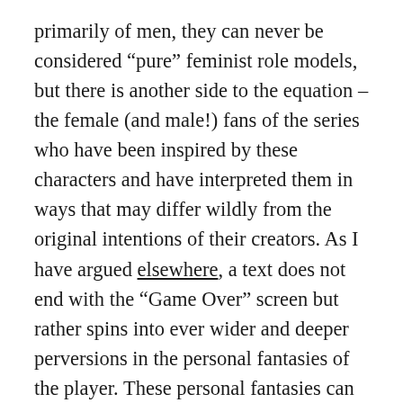primarily of men, they can never be considered “pure” feminist role models, but there is another side to the equation – the female (and male!) fans of the series who have been inspired by these characters and have interpreted them in ways that may differ wildly from the original intentions of their creators. As I have argued elsewhere, a text does not end with the “Game Over” screen but rather spins into ever wider and deeper perversions in the personal fantasies of the player. These personal fantasies can then be reinforced and expanded upon when introduced into larger communities of gamers. Player reception is engaged in a feedback loop with Square-Enix, which has used the enormous revenue it has earned from